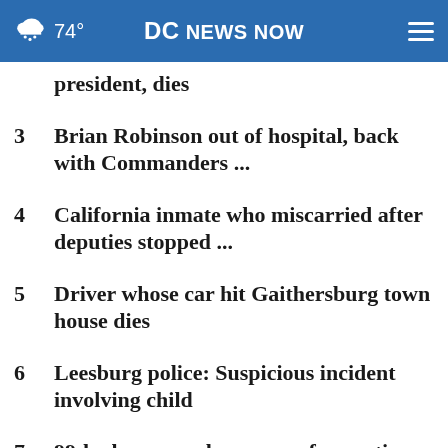74° DC NEWS NOW
2 president, dies
3 Brian Robinson out of hospital, back with Commanders ...
4 California inmate who miscarried after deputies stopped ...
5 Driver whose car hit Gaithersburg town house dies
6 Leesburg police: Suspicious incident involving child
7 99-bedroom orphanage up for auction in West Virginia
8 Inside the secret Manchin-Schumer deal ...